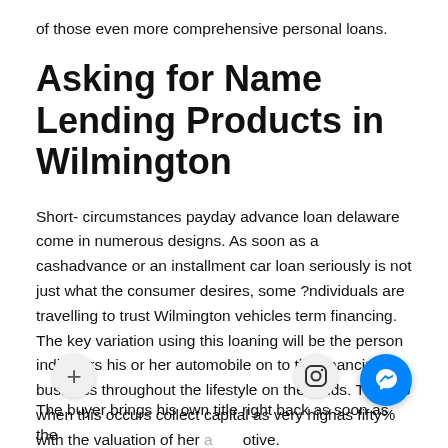of those even more comprehensive personal loans.
Asking for Name Lending Products in Wilmington
Short- circumstances payday advance loan delaware come in numerous designs. As soon as a cashadvance or an installment car loan seriously is not just what the consumer desires, some ?ndividuals are travelling to trust Wilmington vehicles term financing. The key variation using this loaning will be the person indicators his or her automobile on to the financing business throughout the lifestyle on the funds. The two when this occurs collect capital as very highas fifty% with the valuation of her automotive.
The buyer brings his own title right back as soon as the